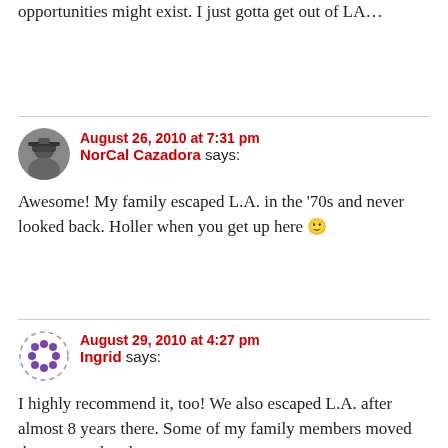opportunities might exist. I just gotta get out of LA…
August 26, 2010 at 7:31 pm
NorCal Cazadora says:
Awesome! My family escaped L.A. in the '70s and never looked back. Holler when you get up here 🙂
August 29, 2010 at 4:27 pm
Ingrid says:
I highly recommend it, too! We also escaped L.A. after almost 8 years there. Some of my family members moved there, stayed and